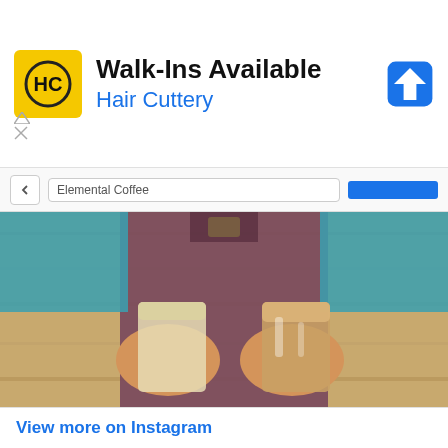[Figure (other): Hair Cuttery advertisement banner with logo, 'Walk-Ins Available' headline, 'Hair Cuttery' subheading in blue, and a blue navigation/directions icon on the right. Small ad controls (triangle/X icons) on the left below the ad text.]
Elemental Coffee
[Figure (photo): A barista wearing a plaid shirt and dark maroon apron holds two iced drinks in glasses toward the camera, standing in front of a light wood-paneled wall.]
View more on Instagram